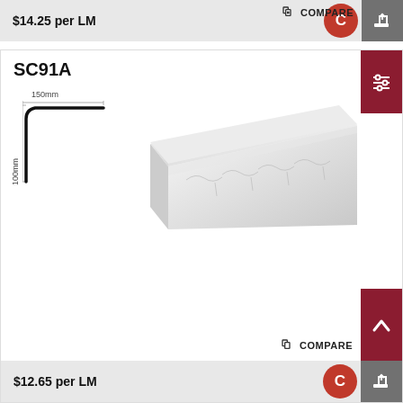$14.25 per LM
COMPARE
SC91A
150mm
100mm
[Figure (illustration): Decorative cornice moulding SC91A cross-section diagram showing 150mm width and 100mm height, and a photograph of a white ornate cornice piece]
COMPARE
$12.65 per LM